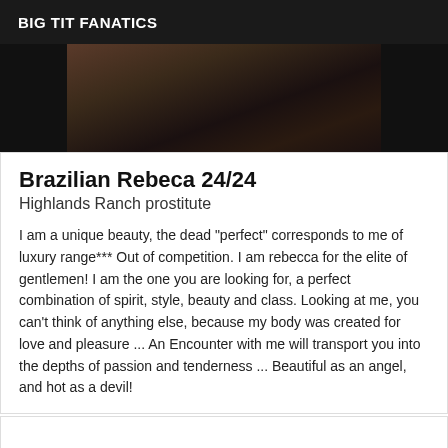BIG TIT FANATICS
[Figure (photo): Partial body photo of a woman against dark background, showing torso/legs area with jewelry/anklet]
Brazilian Rebeca 24/24
Highlands Ranch prostitute
I am a unique beauty, the dead "perfect" corresponds to me of luxury range*** Out of competition. I am rebecca for the elite of gentlemen! I am the one you are looking for, a perfect combination of spirit, style, beauty and class. Looking at me, you can't think of anything else, because my body was created for love and pleasure ... An Encounter with me will transport you into the depths of passion and tenderness ... Beautiful as an angel, and hot as a devil!
Verified